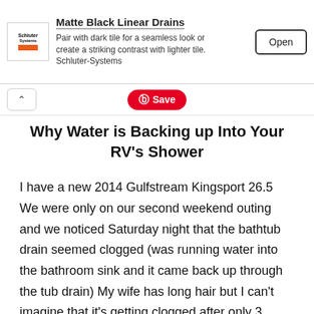[Figure (screenshot): Ad banner for Schluter-Systems Matte Black Linear Drains with logo, description text, and Open button]
Why Water is Backing up Into Your RV's Shower
I have a new 2014 Gulfstream Kingsport 26.5 We were only on our second weekend outing and we noticed Saturday night that the bathtub drain seemed clogged (was running water into the bathroom sink and it came back up through the tub drain) My wife has long hair but I can't imagine that it's getting clogged after only 3